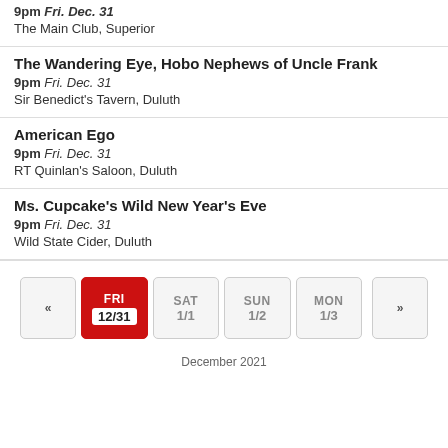9pm Fri. Dec. 31 | The Main Club, Superior
The Wandering Eye, Hobo Nephews of Uncle Frank | 9pm Fri. Dec. 31 | Sir Benedict's Tavern, Duluth
American Ego | 9pm Fri. Dec. 31 | RT Quinlan's Saloon, Duluth
Ms. Cupcake's Wild New Year's Eve | 9pm Fri. Dec. 31 | Wild State Cider, Duluth
[Figure (other): Day navigation bar showing: left arrow, FRI 12/31 (active/red), SAT 1/1, SUN 1/2, MON 1/3, right arrow]
December 2021